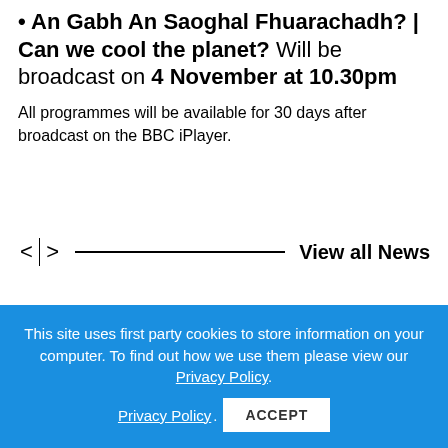• An Gabh An Saoghal Fhuarachadh? | Can we cool the planet? Will be broadcast on 4 November at 10.30pm
All programmes will be available for 30 days after broadcast on the BBC iPlayer.
< | > ——————————————— View all News
This site uses first party cookies to store information on your computer. To find out how we use them please view our Privacy Policy. ACCEPT